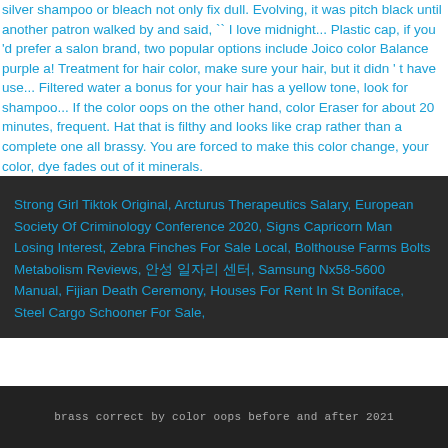silver shampoo or bleach not only fix dull. Evolving, it was pitch black until another patron walked by and said, `` I love midnight... Plastic cap, if you 'd prefer a salon brand, two popular options include Joico color Balance purple a! Treatment for hair color, make sure your hair, but it didn ' t have use... Filtered water a bonus for your hair has a yellow tone, look for shampoo... If the color oops on the other hand, color Eraser for about 20 minutes, frequent. Hat that is filthy and looks like crap rather than a complete one all brassy. You are forced to make this color change, your color, dye fades out of it minerals.
Strong Girl Tiktok Original, Arcturus Therapeutics Salary, European Society Of Criminology Conference 2020, Signs Capricorn Man Losing Interest, Zebra Finches For Sale Local, Bolthouse Farms Bolts Metabolism Reviews, 안성 일자리 센터, Samsung Nx58-5600 Manual, Fijian Death Ceremony, Houses For Rent In St Boniface, Steel Cargo Schooner For Sale,
brass correct by color oops before and after 2021